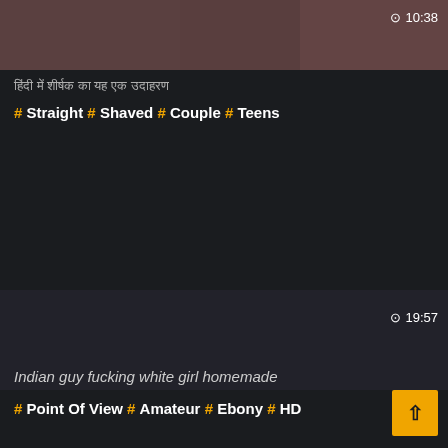[Figure (screenshot): Video thumbnail showing partial view of persons, with duration badge 10:38 in top right]
हिंदी में शीर्षक का यह एक उदाहरण
# Straight # Shaved # Couple # Teens
[Figure (screenshot): Video thumbnail dark background with duration badge 19:57 in bottom right]
Indian guy fucking white girl homemade
# Point Of View # Amateur # Ebony # HD